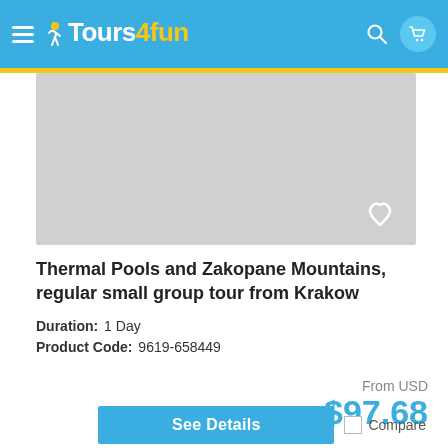Tours4fun
[Figure (photo): Tour image placeholder - gray rectangle representing a tour photo]
Thermal Pools and Zakopane Mountains, regular small group tour from Krakow
Duration: 1 Day
Product Code: 9619-658449
From USD $97.68
See Details  Compare